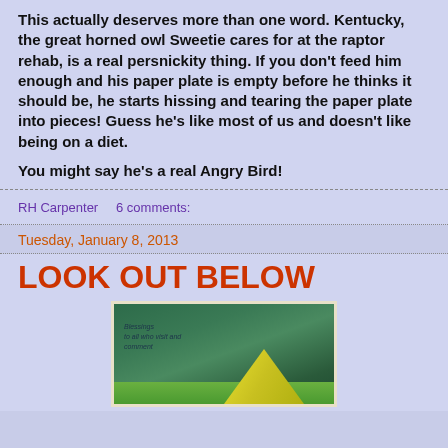This actually deserves more than one word.  Kentucky, the great horned owl Sweetie cares for at the raptor rehab, is a real persnickity thing.  If you don't feed him enough and his paper plate is empty before he thinks it should be, he starts hissing and tearing the paper plate into pieces!  Guess he's like most of us and doesn't like being on a diet.

You might say he's a real Angry Bird!
RH Carpenter    6 comments:
Tuesday, January 8, 2013
LOOK OUT BELOW
[Figure (illustration): Partial illustration showing a green background with a yellow triangular shape and green stripe, with faint cursive text overlay at top left.]